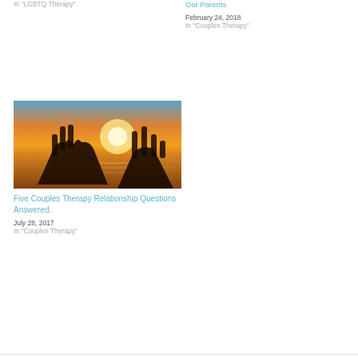In "LGBTQ Therapy"
Our Parents
February 24, 2018
In "Couples Therapy"
[Figure (photo): Silhouette of two hands against a sunset sky over the ocean, one hand making a heart shape and the other making a peace sign.]
Five Couples Therapy Relationship Questions Answered.
July 28, 2017
In "Couples Therapy"